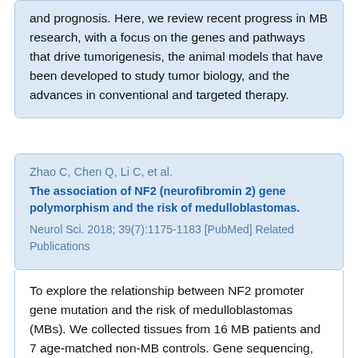and prognosis. Here, we review recent progress in MB research, with a focus on the genes and pathways that drive tumorigenesis, the animal models that have been developed to study tumor biology, and the advances in conventional and targeted therapy.
Zhao C, Chen Q, Li C, et al.
The association of NF2 (neurofibromin 2) gene polymorphism and the risk of medulloblastomas.
Neurol Sci. 2018; 39(7):1175-1183 [PubMed] Related Publications
To explore the relationship between NF2 promoter gene mutation and the risk of medulloblastomas (MBs). We collected tissues from 16 MB patients and 7 age-matched non-MB controls. Gene sequencing, qPCR (real-time quantitative polymerase chain reaction), IHC (immunohistochemistry), and WB (Western blot) were used to analyze the changes in the NF2 gene sequence and expression between patients and controls. We found